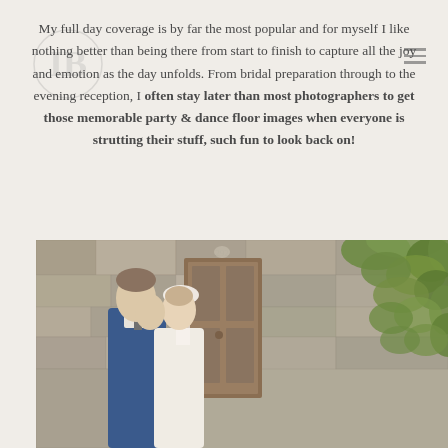My full day coverage is by far the most popular and for myself I like nothing better than being there from start to finish to capture all the joy and emotion as the day unfolds. From bridal preparation through to the evening reception, I often stay later than most photographers to get those memorable party & dance floor images when everyone is strutting their stuff, such fun to look back on!
[Figure (photo): Wedding couple standing in front of a rustic stone wall with a wooden door and ivy/green plants on the right side. The groom is in a blue suit and the bride has a veil and updo hairstyle. They are facing each other closely.]